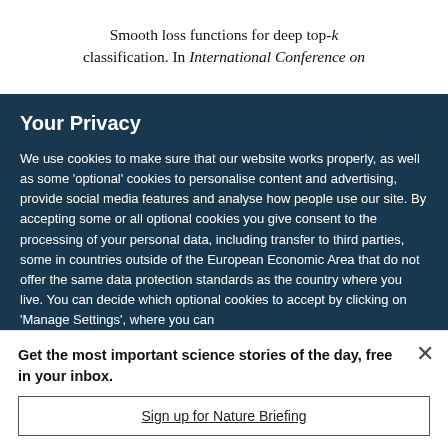Smooth loss functions for deep top-k classification. In International Conference on
Your Privacy
We use cookies to make sure that our website works properly, as well as some 'optional' cookies to personalise content and advertising, provide social media features and analyse how people use our site. By accepting some or all optional cookies you give consent to the processing of your personal data, including transfer to third parties, some in countries outside of the European Economic Area that do not offer the same data protection standards as the country where you live. You can decide which optional cookies to accept by clicking on 'Manage Settings', where you can
Get the most important science stories of the day, free in your inbox.
Sign up for Nature Briefing